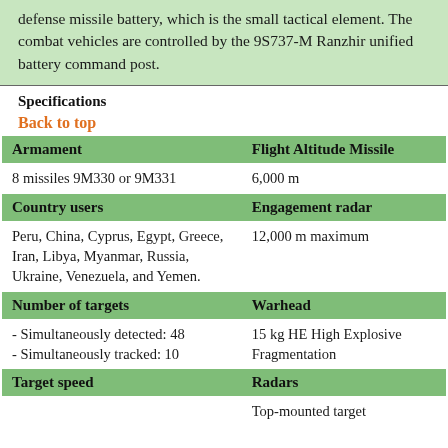defense missile battery, which is the small tactical element. The combat vehicles are controlled by the 9S737-M Ranzhir unified battery command post.
Specifications
Back to top
| Armament | Flight Altitude Missile |
| --- | --- |
| 8 missiles 9M330 or 9M331 | 6,000 m |
| Country users | Engagement radar |
| Peru, China, Cyprus, Egypt, Greece, Iran, Libya, Myanmar, Russia, Ukraine, Venezuela, and Yemen. | 12,000 m maximum |
| Number of targets | Warhead |
| - Simultaneously detected: 48
- Simultaneously tracked: 10 | 15 kg HE High Explosive Fragmentation |
| Target speed | Radars |
|  | Top-mounted target |